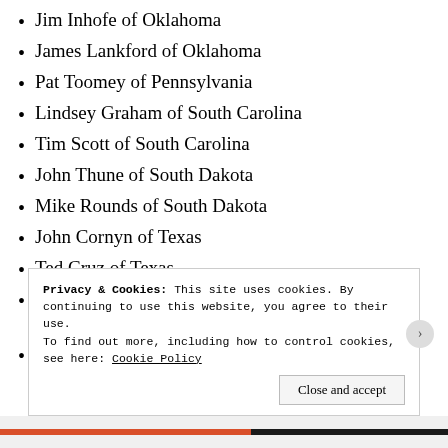Jim Inhofe of Oklahoma
James Lankford of Oklahoma
Pat Toomey of Pennsylvania
Lindsey Graham of South Carolina
Tim Scott of South Carolina
John Thune of South Dakota
Mike Rounds of South Dakota
John Cornyn of Texas
Ted Cruz of Texas
Orrin Hatch of Utah, the Senate President Pro Tempore
Mike Lee of Utah
Privacy & Cookies: This site uses cookies. By continuing to use this website, you agree to their use.
To find out more, including how to control cookies, see here: Cookie Policy
Close and accept